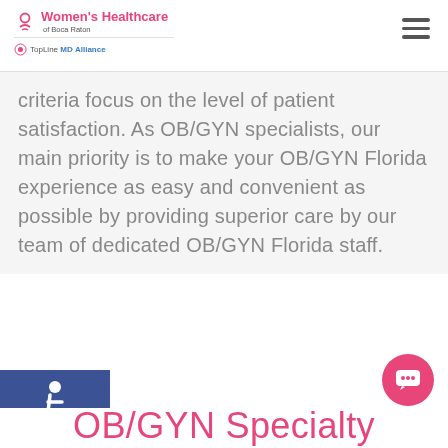[Figure (logo): Women's Healthcare of Boca Raton logo with TopLine MD Alliance badge]
criteria focus on the level of patient satisfaction. As OB/GYN specialists, our main priority is to make your OB/GYN Florida experience as easy and convenient as possible by providing superior care by our team of dedicated OB/GYN Florida staff.
[Figure (illustration): Blue accessibility wheelchair icon on dark blue square background]
OB/GYN Specialty